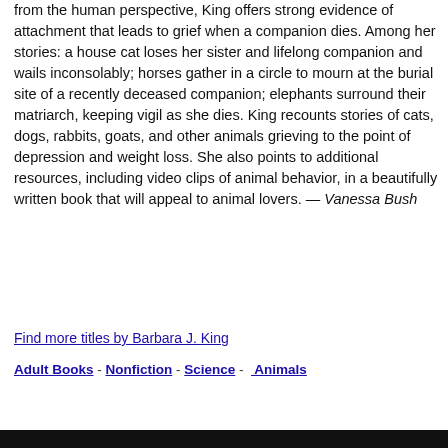from the human perspective, King offers strong evidence of attachment that leads to grief when a companion dies. Among her stories: a house cat loses her sister and lifelong companion and wails inconsolably; horses gather in a circle to mourn at the burial site of a recently deceased companion; elephants surround their matriarch, keeping vigil as she dies. King recounts stories of cats, dogs, rabbits, goats, and other animals grieving to the point of depression and weight loss. She also points to additional resources, including video clips of animal behavior, in a beautifully written book that will appeal to animal lovers. — Vanessa Bush
Find more titles by Barbara J. King
Adult Books - Nonfiction - Science - Animals